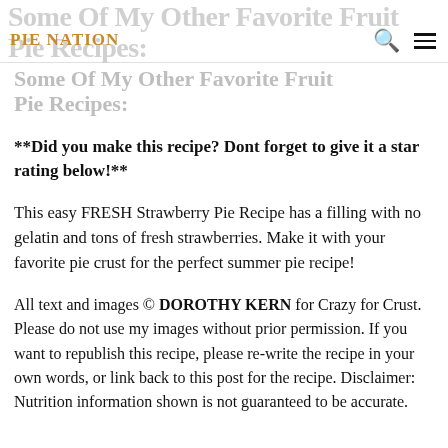PIE NATION
Some Of My Other Favorite Fruit Pie Recipes:
**Did you make this recipe? Dont forget to give it a star rating below!**
This easy FRESH Strawberry Pie Recipe has a filling with no gelatin and tons of fresh strawberries. Make it with your favorite pie crust for the perfect summer pie recipe!
All text and images © DOROTHY KERN for Crazy for Crust. Please do not use my images without prior permission. If you want to republish this recipe, please re-write the recipe in your own words, or link back to this post for the recipe. Disclaimer: Nutrition information shown is not guaranteed to be accurate.